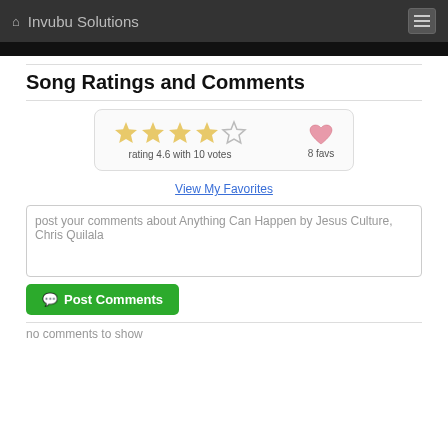Invubu Solutions
Song Ratings and Comments
[Figure (other): Star rating widget showing 4 filled stars and 1 empty star, rating 4.6 with 10 votes, and a pink heart icon with 8 favs]
View My Favorites
post your comments about Anything Can Happen by Jesus Culture, Chris Quilala
Post Comments
no comments to show